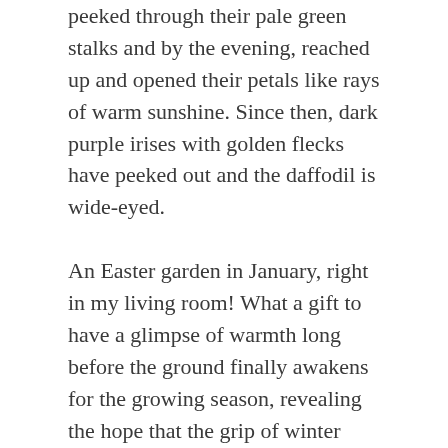peeked through their pale green stalks and by the evening, reached up and opened their petals like rays of warm sunshine. Since then, dark purple irises with golden flecks have peeked out and the daffodil is wide-eyed.
An Easter garden in January, right in my living room! What a gift to have a glimpse of warmth long before the ground finally awakens for the growing season, revealing the hope that the grip of winter will one day melt away into a season of bounty.
Experience teaches us where to look for God's goodness. At first we may be surprised by it — like tulips suddenly bursting forth from stalks that seemed empty. But then, it happens again. And again. And yet again. And we train our hearts to watch and see what God is